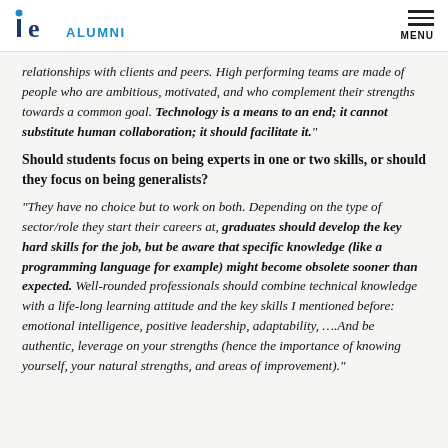ie ALUMNI | MENU
relationships with clients and peers. High performing teams are made of people who are ambitious, motivated, and who complement their strengths towards a common goal. Technology is a means to an end; it cannot substitute human collaboration; it should facilitate it."
Should students focus on being experts in one or two skills, or should they focus on being generalists?
"They have no choice but to work on both. Depending on the type of sector/role they start their careers at, graduates should develop the key hard skills for the job, but be aware that specific knowledge (like a programming language for example) might become obsolete sooner than expected. Well-rounded professionals should combine technical knowledge with a life-long learning attitude and the key skills I mentioned before: emotional intelligence, positive leadership, adaptability, ....And be authentic, leverage on your strengths (hence the importance of knowing yourself, your natural strengths, and areas of improvement)."